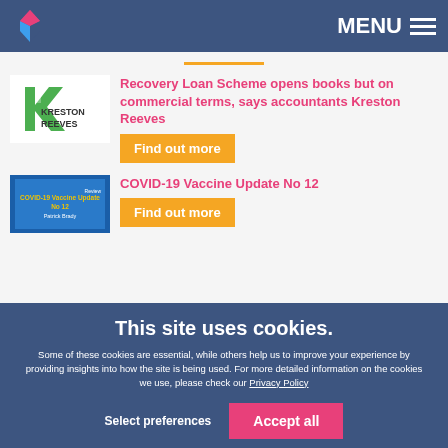MENU
[Figure (logo): Kreston Reeves logo with green and pink diamond shape]
Recovery Loan Scheme opens books but on commercial terms, says accountants Kreston Reeves
Find out more
[Figure (logo): COVID-19 Vaccine Update No 12 document thumbnail with blue background]
COVID-19 Vaccine Update No 12
Find out more
This site uses cookies.
Some of these cookies are essential, while others help us to improve your experience by providing insights into how the site is being used. For more detailed information on the cookies we use, please check our Privacy Policy
Select preferences
Accept all